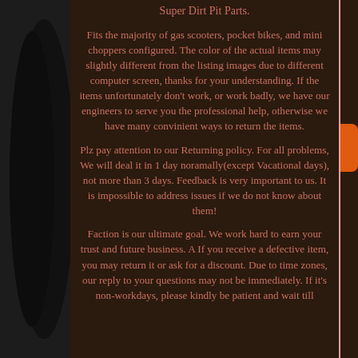Super Dirt Pit Parts.
Fits the majority of gas scooters, pocket bikes, and mini choppers configured. The color of the actual items may slightly different from the listing images due to different computer screen, thanks for your understanding. If the items unfortunately don't work, or work badly, we have our engineers to serve you the professional help, otherwise we have many convinient ways to return the items.
Plz pay attention to our Returning policy. For all problems, We will deal it in 1 day noramally(except Vacational days), not more than 3 days. Feedback is very important to us. It is impossible to address issues if we do not know about them!
Faction is our ultimate goal. We work hard to earn your trust and future business. A If you receive a defective item, you may return it or ask for a discount. Due to time zones, our reply to your questions may not be immediately. If it's non-workdays, please kindly be patient and wait till